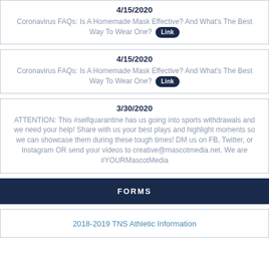4/15/2020
Coronavirus FAQs: Is A Homemade Mask Effective? And What’s The Best Way To Wear One? Link
4/15/2020
Coronavirus FAQs: Is A Homemade Mask Effective? And What’s The Best Way To Wear One? Link
3/30/2020
ATTENTION: This #selfquarantine has us going into sports withdrawals and we need your help! Share with us your best plays and highlight moments so we can showcase them during these tough times! DM us on FB, Twitter, or Instagram OR send your videos to creative@mascotmedia.net. We are #YOURMascotMedia
FORMS
2018-2019 TNS Athletic Information